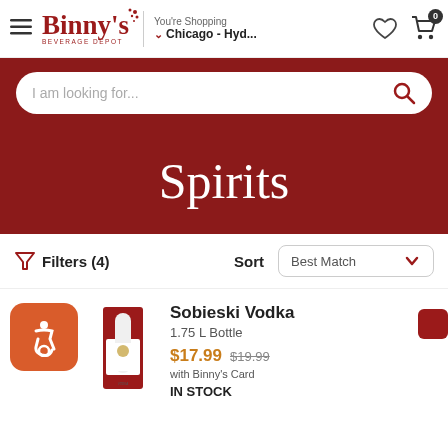Binny's Beverage Depot — You're Shopping Chicago - Hyd...
I am looking for...
Spirits
Filters (4)   Sort   Best Match
Sobieski Vodka
1.75 L Bottle
$17.99  $19.99
with Binny's Card
IN STOCK